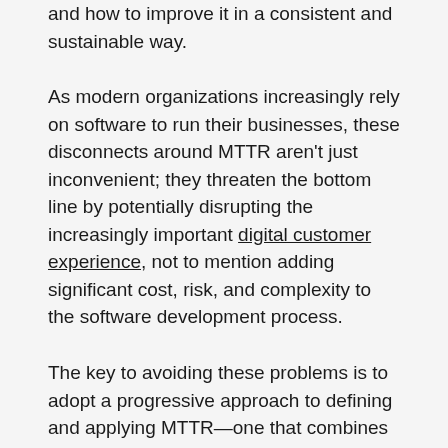and how to improve it in a consistent and sustainable way.
As modern organizations increasingly rely on software to run their businesses, these disconnects around MTTR aren't just inconvenient; they threaten the bottom line by potentially disrupting the increasingly important digital customer experience, not to mention adding significant cost, risk, and complexity to the software development process.
The key to avoiding these problems is to adopt a progressive approach to defining and applying MTTR—one that combines